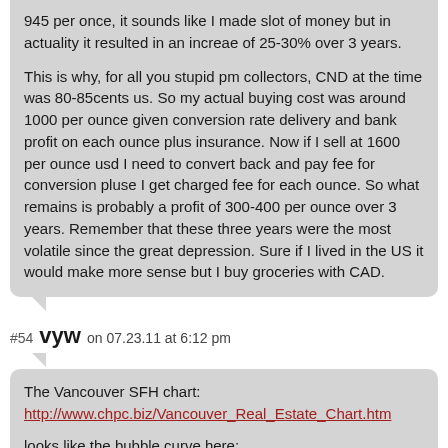945 per once, it sounds like I made slot of money but in actuality it resulted in an increae of 25-30% over 3 years.

This is why, for all you stupid pm collectors, CND at the time was 80-85cents us. So my actual buying cost was around 1000 per ounce given conversion rate delivery and bank profit on each ounce plus insurance. Now if I sell at 1600 per ounce usd I need to convert back and pay fee for conversion pluse I get charged fee for each ounce. So what remains is probably a profit of 300-400 per ounce over 3 years. Remember that these three years were the most volatile since the great depression. Sure if I lived in the US it would make more sense but I buy groceries with CAD.
#54 vyw on 07.23.11 at 6:12 pm
The Vancouver SFH chart:
http://www.chpc.biz/Vancouver_Real_Estate_Chart.htm

looks like the bubble curve here:
http://www.oftwominds.com/blogaug06/post-bubble-symmetry.html

But the NASDAQ graph is also instructive – up 100% between late 1999 and spring 2000. So we may be 'shorting' the Vancouver and Toronto